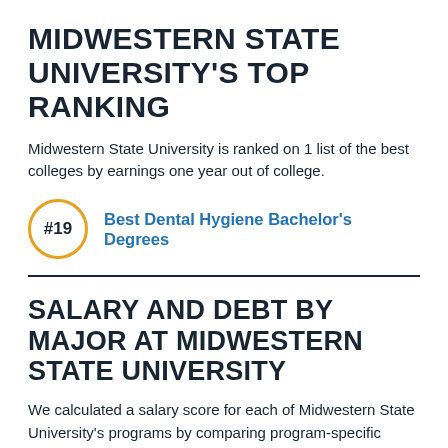MIDWESTERN STATE UNIVERSITY'S TOP RANKING
Midwestern State University is ranked on 1 list of the best colleges by earnings one year out of college.
#19  Best Dental Hygiene Bachelor's Degrees
SALARY AND DEBT BY MAJOR AT MIDWESTERN STATE UNIVERSITY
We calculated a salary score for each of Midwestern State University's programs by comparing program-specific median alumni earnings to median alumni earnings for the same program across all schools that provide this data. This way, students can compare the relative salary strength of a